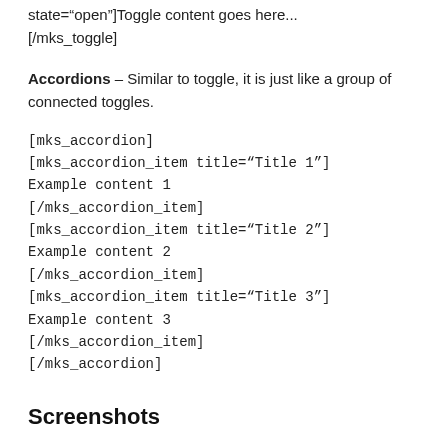state="open"]Toggle content goes here...
[/mks_toggle]
Accordions – Similar to toggle, it is just like a group of connected toggles.
[mks_accordion]
[mks_accordion_item title="Title 1"]
Example content 1
[/mks_accordion_item]
[mks_accordion_item title="Title 2"]
Example content 2
[/mks_accordion_item]
[mks_accordion_item title="Title 3"]
Example content 3
[/mks_accordion_item]
[/mks_accordion]
Screenshots